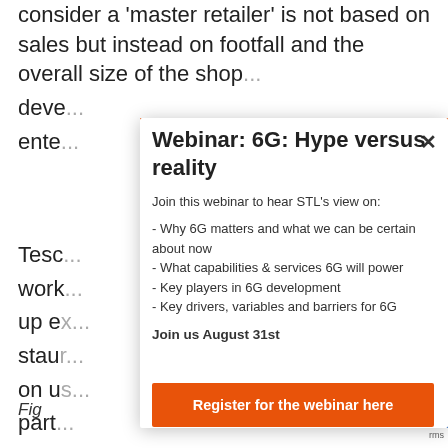consider a 'master retailer' is not based on sales but instead on footfall and the overall size of the shop[...] devel[...] ente[...]
Tesco [...] work[...] up ex[...] staur[...] on us[...] part [...]
Webinar: 6G: Hype versus reality
Join this webinar to hear STL's view on:
- Why 6G matters and what we can be certain about now
- What capabilities & services 6G will power
- Key players in 6G development
- Key drivers, variables and barriers for 6G
Join us August 31st
Register for the webinar here
Fig[...]